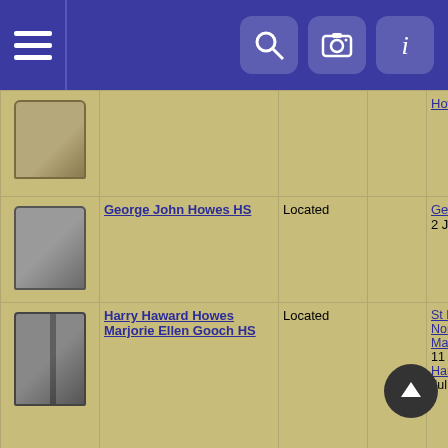Navigation header with hamburger menu and icons
| Image | Name | Status |  | Info |
| --- | --- | --- | --- | --- |
| [gravestone photo] |  |  |  | Howes (d. 9 Mar 1858) |
| [gravestone photo] | George John Howes HS | Located |  | George John Howes (d. 2 Jun 1876) |
| [gravestone photo] | Harry Haward Howes Marjorie Ellen Gooch HS | Located |  | St Peter, Ridlington, Norfolk Marjorie Ellen Gooch (d. 11 Apr 1988) Harry Haward Howes (d. 9 Jul 1971) |
| [gravestone photo] | Mary Kathleen Howes HS | Located |  | St Peter, Ridlington, Norfolk Mary Kathleen Howes (d. 1 Jun 1955) |
| [partial row] |  |  |  |  |